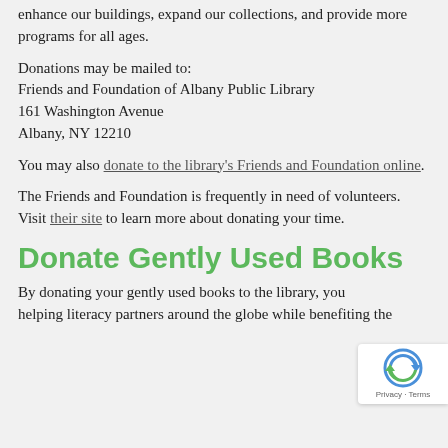enhance our buildings, expand our collections, and provide more programs for all ages.
Donations may be mailed to:
Friends and Foundation of Albany Public Library
161 Washington Avenue
Albany, NY 12210
You may also donate to the library's Friends and Foundation online.
The Friends and Foundation is frequently in need of volunteers. Visit their site to learn more about donating your time.
Donate Gently Used Books
By donating your gently used books to the library, you helping literacy partners around the globe while benefiting the